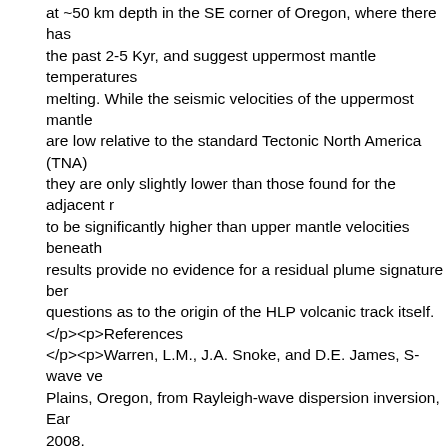at ~50 km depth in the SE corner of Oregon, where there has the past 2-5 Kyr, and suggest uppermost mantle temperatures melting. While the seismic velocities of the uppermost mantle are low relative to the standard Tectonic North America (TNA) they are only slightly lower than those found for the adjacent r to be significantly higher than upper mantle velocities beneath results provide no evidence for a residual plume signature ber questions as to the origin of the HLP volcanic track itself. </p><p>References </p><p>Warren, L.M., J.A. Snoke, and D.E. James, S-wave ve Plains, Oregon, from Rayleigh-wave dispersion inversion, Ear 2008. </p><p>Grand, S.P., and D.V. Helmberger, Upper mantle shea Geophys. J. R. Astron. Soc., 76, 399-438, 1984. </p><p>Acknowledgements: This work was supported by the grant EAR-0506914 and by the Carnegie Institution of Washington.</p>
Comments
No comments yet.